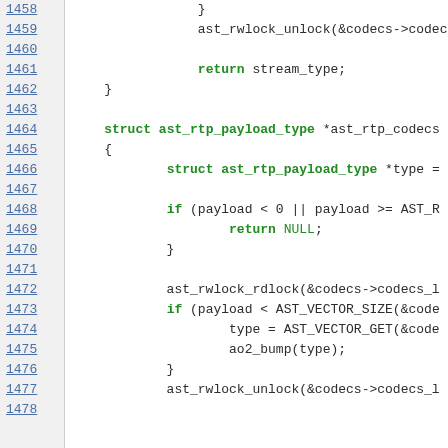Source code listing lines 1458-1478 showing C code for ast_rtp_payload_type and related functions